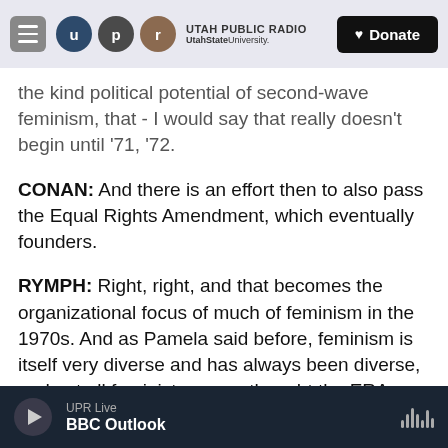Utah Public Radio | UtahStateUniversity. | Donate
the kind political potential of second-wave feminism, that - I would say that really doesn't begin until '71, '72.
CONAN: And there is an effort then to also pass the Equal Rights Amendment, which eventually founders.
RYMPH: Right, right, and that becomes the organizational focus of much of feminism in the 1970s. And as Pamela said before, feminism is itself very diverse and has always been diverse, and not all feminists were - thought the ERA was the most important issue in the '70s.
UPR Live | BBC Outlook